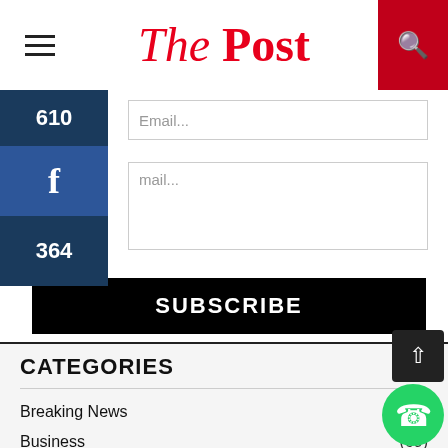The Post
Email...
mail...
SUBSCRIBE
CATEGORIES
Breaking News (130)
Business (69)
Culture (29)
Economy
Education